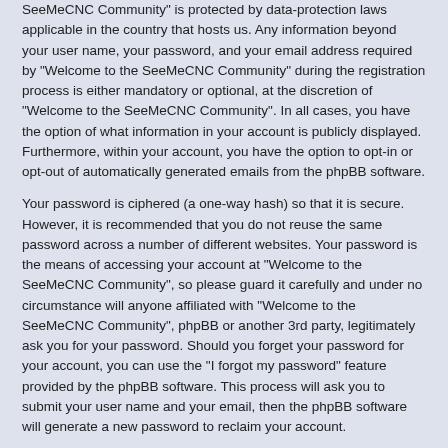SeeMeCNC Community" is protected by data-protection laws applicable in the country that hosts us. Any information beyond your user name, your password, and your email address required by "Welcome to the SeeMeCNC Community" during the registration process is either mandatory or optional, at the discretion of "Welcome to the SeeMeCNC Community". In all cases, you have the option of what information in your account is publicly displayed. Furthermore, within your account, you have the option to opt-in or opt-out of automatically generated emails from the phpBB software.
Your password is ciphered (a one-way hash) so that it is secure. However, it is recommended that you do not reuse the same password across a number of different websites. Your password is the means of accessing your account at "Welcome to the SeeMeCNC Community", so please guard it carefully and under no circumstance will anyone affiliated with "Welcome to the SeeMeCNC Community", phpBB or another 3rd party, legitimately ask you for your password. Should you forget your password for your account, you can use the "I forgot my password" feature provided by the phpBB software. This process will ask you to submit your user name and your email, then the phpBB software will generate a new password to reclaim your account.
Board index   Contact us   Delete cookies   All times are UTC-04:00
Powered by phpBB® Forum Software © phpBB Limited
Privacy | Terms
cron